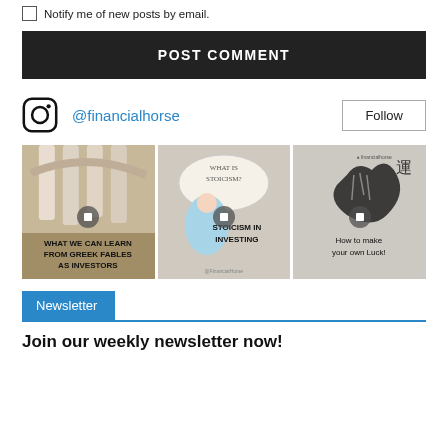Notify me of new posts by email.
POST COMMENT
[Figure (screenshot): Instagram profile row showing @financialhorse handle and Follow button]
[Figure (photo): Three Instagram post thumbnails: 'What we can learn from Greek fables as investors', 'What is Stoicism? Stoicism in investing', 'How to make your own luck!']
Newsletter
Join our weekly newsletter now!